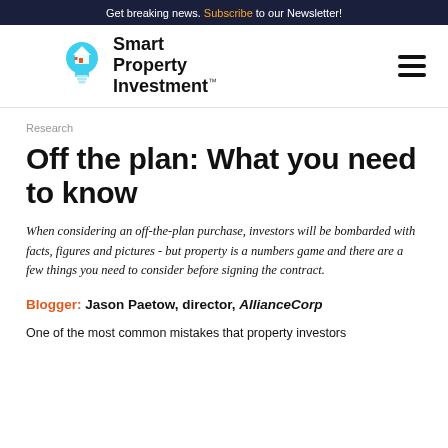Get breaking news. Subscribe to our Newsletter!
[Figure (logo): Smart Property Investment logo with light bulb icon]
Research
Off the plan: What you need to know
When considering an off-the-plan purchase, investors will be bombarded with facts, figures and pictures - but property is a numbers game and there are a few things you need to consider before signing the contract.
Blogger: Jason Paetow, director, AllianceCorp
One of the most common mistakes that property investors